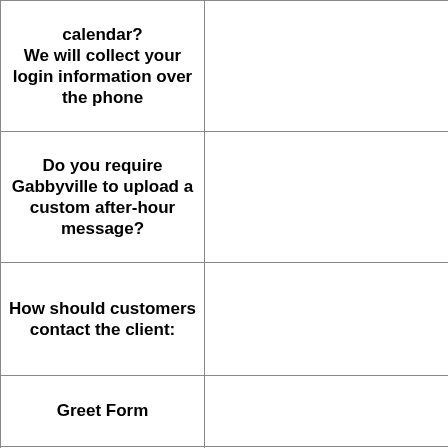| Question | Answer |
| --- | --- |
| calendar?
We will collect your login information over the phone |  |
| Do you require Gabbyville to upload a custom after-hour message? |  |
| How should customers contact the client: |  |
| Greet Form |  |
| Additional Comments/Special Instructions: |  |
| Describe your Business To Caller |  |